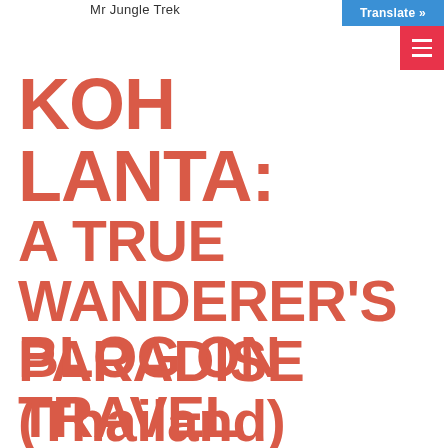Mr Jungle Trek
KOH LANTA:
A TRUE WANDERER'S PARADISE
(Thailand)
BLOG ON TRAVEL